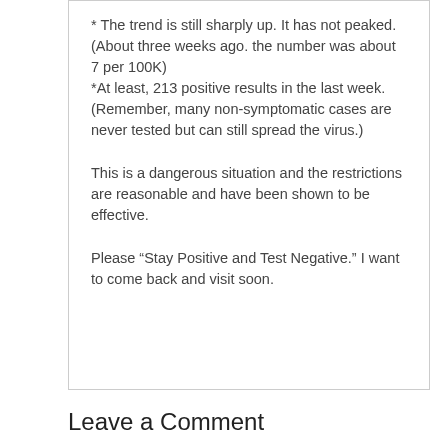* The trend is still sharply up. It has not peaked. (About three weeks ago. the number was about 7 per 100K) *At least, 213 positive results in the last week. (Remember, many non-symptomatic cases are never tested but can still spread the virus.)
This is a dangerous situation and the restrictions are reasonable and have been shown to be effective.
Please “Stay Positive and Test Negative.” I want to come back and visit soon.
Leave a Comment